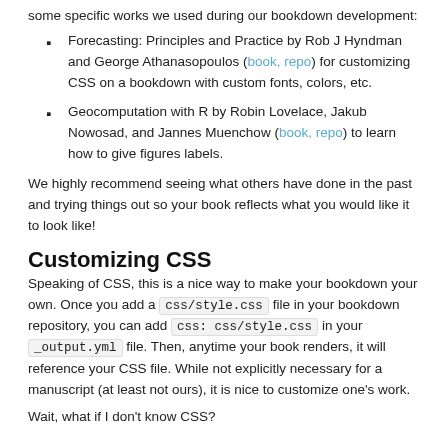some specific works we used during our bookdown development:
Forecasting: Principles and Practice by Rob J Hyndman and George Athanasopoulos (book, repo) for customizing CSS on a bookdown with custom fonts, colors, etc.
Geocomputation with R by Robin Lovelace, Jakub Nowosad, and Jannes Muenchow (book, repo) to learn how to give figures labels.
We highly recommend seeing what others have done in the past and trying things out so your book reflects what you would like it to look like!
Customizing CSS
Speaking of CSS, this is a nice way to make your bookdown your own. Once you add a css/style.css file in your bookdown repository, you can add css: css/style.css in your _output.yml file. Then, anytime your book renders, it will reference your CSS file. While not explicitly necessary for a manuscript (at least not ours), it is nice to customize one's work.
Wait, what if I don't know CSS?